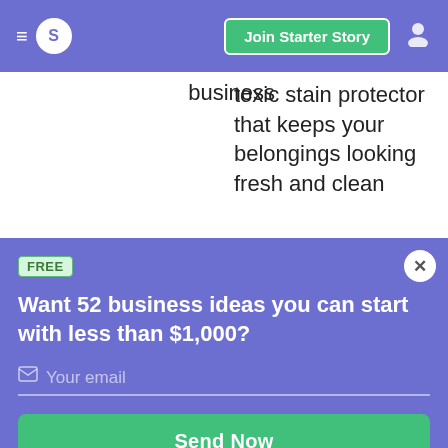≡  S  Join Starter Story  👤
business
toxic stain protector that keeps your belongings looking fresh and clean
FREE
Want 52 business ideas you can start with less than $1,000?
Your email
Send Now